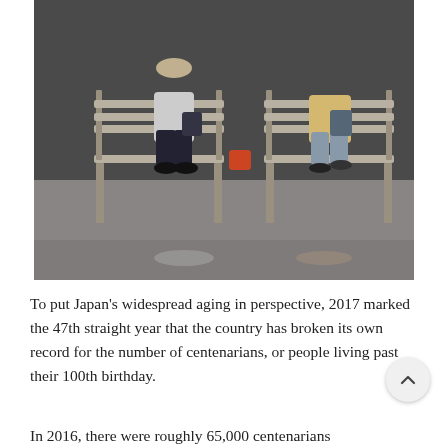[Figure (photo): Two elderly Japanese women sitting on separate wooden benches outdoors, with their bags, on a sidewalk or covered walkway. A wet ground reflection is visible in the lower portion of the image.]
To put Japan's widespread aging in perspective, 2017 marked the 47th straight year that the country has broken its own record for the number of centenarians, or people living past their 100th birthday.
In 2016, there were roughly 65,000 centenarians